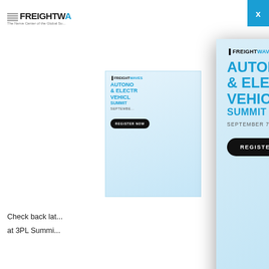[Figure (screenshot): FreightWaves website page partially visible in background with logo, ad banner for Autonomous & Electric Vehicles Summit, and body text about 3PL Summit icebreaker session]
[Figure (illustration): FreightWaves Autonomous & Electric Vehicles Summit advertisement popup/modal overlay with truck illustration, title, date September 7 2022, Register Now button, and descriptive text about innovations in electrification and autonomous trucking]